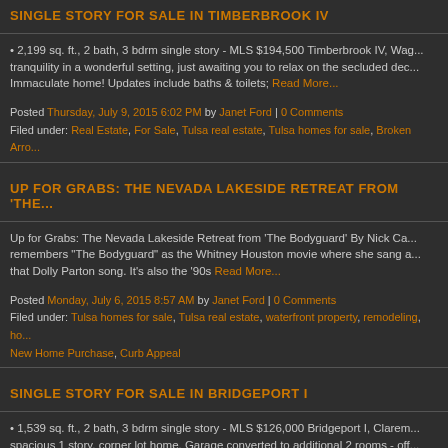SINGLE STORY FOR SALE IN TIMBERBROOK IV
• 2,199 sq. ft., 2 bath, 3 bdrm single story - MLS $194,500 Timberbrook IV, Wag... tranquility in a wonderful setting, just awaiting you to relax on the secluded dec... Immaculate home! Updates include baths & toilets; Read More...
Posted Thursday, July 9, 2015 6:02 PM by Janet Ford | 0 Comments Filed under: Real Estate, For Sale, Tulsa real estate, Tulsa homes for sale, Broken Arro...
UP FOR GRABS: THE NEVADA LAKESIDE RETREAT FROM 'THE...
Up for Grabs: The Nevada Lakeside Retreat from 'The Bodyguard' By Nick Ca... remembers "The Bodyguard" as the Whitney Houston movie where she sang a... that Dolly Parton song. It's also the '90s Read More...
Posted Monday, July 6, 2015 8:57 AM by Janet Ford | 0 Comments Filed under: Tulsa homes for sale, Tulsa real estate, waterfront property, remodeling, ho... New Home Purchase, Curb Appeal
SINGLE STORY FOR SALE IN BRIDGEPORT I
• 1,539 sq. ft., 2 bath, 3 bdrm single story - MLS $126,000 Bridgeport I, Clarem... spacious 1 story, corner lot home. Garage converted to additional 2 rooms - off... gameroom and storage area. Good floor plan and stainless steel appliances Re...
Posted Monday, July 6, 2015 8:45 AM by Janet Ford | 0 Comments